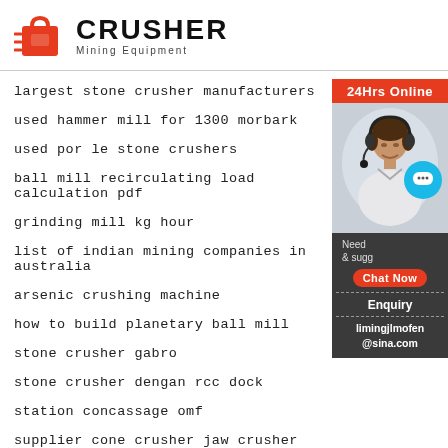[Figure (logo): Crusher Mining Equipment logo with red shopping bag icon and bold black CRUSHER text]
largest stone crusher manufacturers
used hammer mill for 1300 morbark
used por le stone crushers
ball mill recirculating load calculation pdf
grinding mill kg hour
list of indian mining companies in australia
arsenic crushing machine
how to build planetary ball mill
stone crusher gabro
stone crusher dengan rcc dock
station concassage omf
supplier cone crusher jaw crusher china
[Figure (infographic): 24Hrs Online sidebar with customer service photo, chat bubble, Chat Now button, Enquiry section, and limingjlmofen@sina.com email]